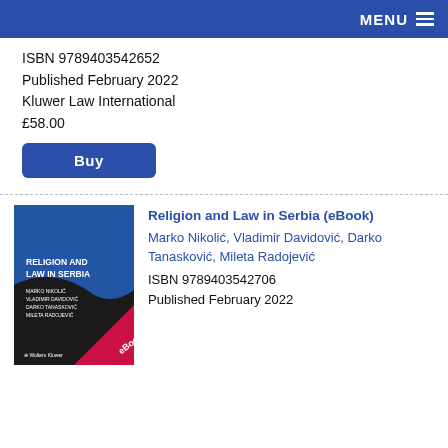MENU
ISBN 9789403542652
Published February 2022
Kluwer Law International
£58.00
[Figure (other): Blue Buy button]
[Figure (illustration): Book cover: Religion and Law in Serbia, eBook edition, Wolters Kluwer, blue and black design with pink eBook ribbon]
Religion and Law in Serbia (eBook)
Marko Nikolić, Vladimir Davidović, Darko Tanasković, Mileta Radojević
ISBN 9789403542706
Published February 2022